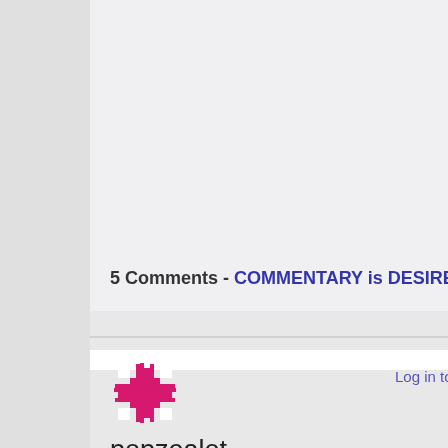5 Comments - COMMENTARY is DESIRED
[Figure (illustration): Pixel art avatar icon - pink/magenta cross/plus shape with arrow-like extensions on each side]
Log in to Reply
popzealot
September 17, 2013 at 6:39 PM · Edit
of course...
... you likely already knew that better than I do.